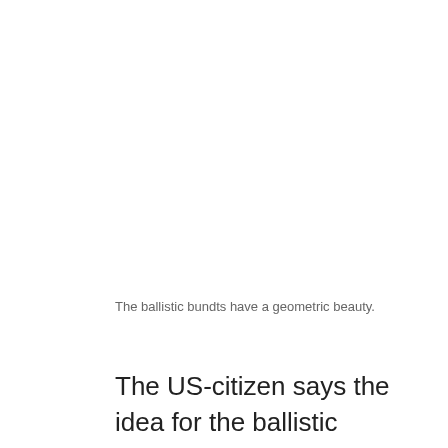The ballistic bundts have a geometric beauty.
The US-citizen says the idea for the ballistic gelatine cakes came from sending care packages to her cousin, who was once a pilot in the US Air